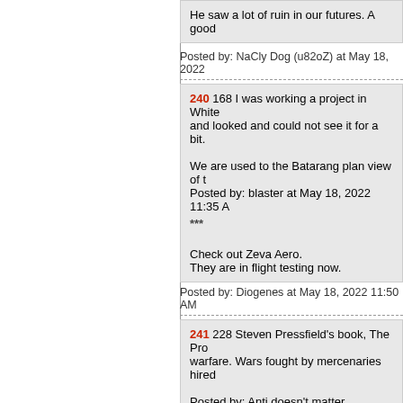He saw a lot of ruin in our futures. A good...
Posted by: NaCly Dog (u82oZ) at May 18, 2022
240 168 I was working a project in White... and looked and could not see it for a bit.

We are used to the Batarang plan view of...
Posted by: blaster at May 18, 2022 11:35 A...
***

Check out Zeva Aero.
They are in flight testing now.
Posted by: Diogenes at May 18, 2022 11:50 AM
241 228 Steven Pressfield's book, The Pro... warfare. Wars fought by mercenaries hired...

Posted by: Anti doesn't matter
--------------
That has been true in Africa for some time... direct military involvement.
Posted by: whig at May 18, 2022 11:50 AM (Iq9...